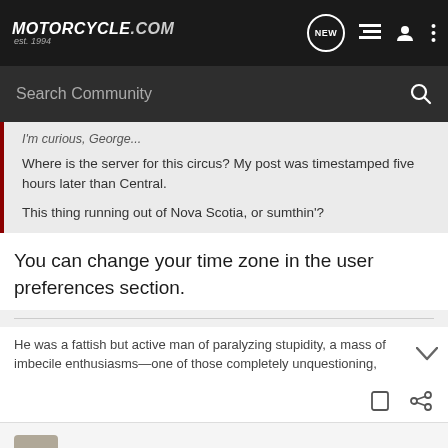Motorcycle.com est. 1994
Search Community
I'm curious, George...
Where is the server for this circus? My post was timestamped five hours later than Central.
This thing running out of Nova Scotia, or sumthin'?
You can change your time zone in the user preferences section.
He was a fattish but active man of paralyzing stupidity, a mass of imbecile enthusiasms—one of those completely unquestioning,
The_AirHawk · Registered